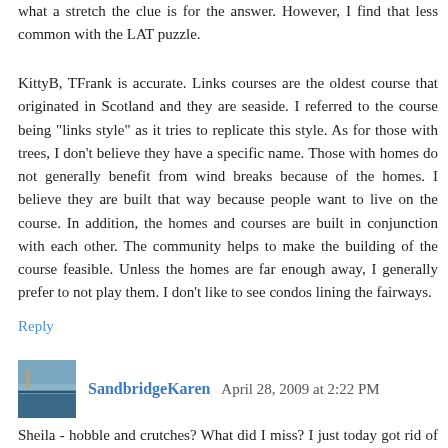what a stretch the clue is for the answer. However, I find that less common with the LAT puzzle.
KittyB, TFrank is accurate. Links courses are the oldest course that originated in Scotland and they are seaside. I referred to the course being "links style" as it tries to replicate this style. As for those with trees, I don't believe they have a specific name. Those with homes do not generally benefit from wind breaks because of the homes. I believe they are built that way because people want to live on the course. In addition, the homes and courses are built in conjunction with each other. The community helps to make the building of the course feasible. Unless the homes are far enough away, I generally prefer to not play them. I don't like to see condos lining the fairways.
Reply
SandbridgeKaren  April 28, 2009 at 2:22 PM
Sheila - hobble and crutches? What did I miss? I just today got rid of a brace that I had for 2 months stabilizing a stress fracture in my leg - gave up the crutches a month ago - they were way more trouble than helpful. Longest month of my life. So I really